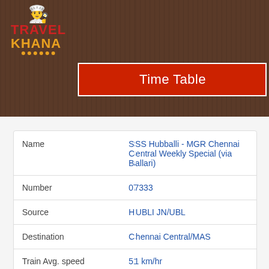[Figure (logo): TravelKhana logo with chef hat icon, red TRAVEL text and orange KHANA text with orange dots underline]
Time Table
| Field | Value |
| --- | --- |
| Name | SSS Hubballi - MGR Chennai Central Weekly Special (via Ballari) |
| Number | 07333 |
| Source | HUBLI JN/UBL |
| Destination | Chennai Central/MAS |
| Train Avg. speed | 51 km/hr |
| Journey Distance | 705 km |